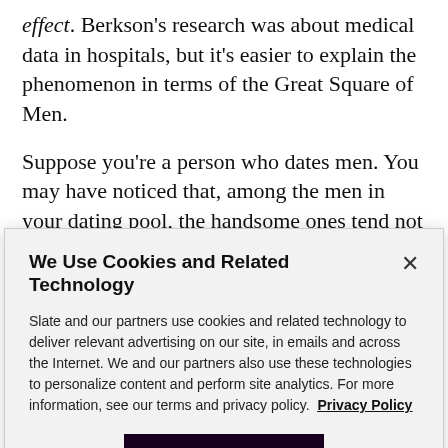effect. Berkson's research was about medical data in hospitals, but it's easier to explain the phenomenon in terms of the Great Square of Men.
Suppose you're a person who dates men. You may have noticed that, among the men in your dating pool, the handsome ones tend not to be nice, and the nice ones tend not to be handsome. Is that because having a symmetrical face makes you cruel? Does it mean that
We Use Cookies and Related Technology
Slate and our partners use cookies and related technology to deliver relevant advertising on our site, in emails and across the Internet. We and our partners also use these technologies to personalize content and perform site analytics. For more information, see our terms and privacy policy.  Privacy Policy
OK